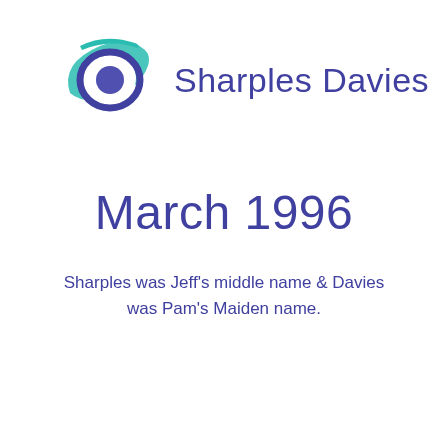[Figure (logo): Sharples Davies logo: a stylized eye shape with teal outer swoosh and purple concentric circles, with 'Sharples Davies' text in purple to the right]
March 1996
Sharples was Jeff's middle name & Davies was Pam's Maiden name.